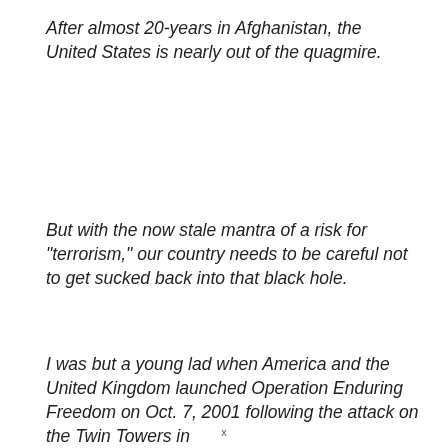After almost 20-years in Afghanistan, the United States is nearly out of the quagmire.
But with the now stale mantra of a risk for "terrorism," our country needs to be careful not to get sucked back into that black hole.
I was but a young lad when America and the United Kingdom launched Operation Enduring Freedom on Oct. 7, 2001 following the attack on the Twin Towers in
x